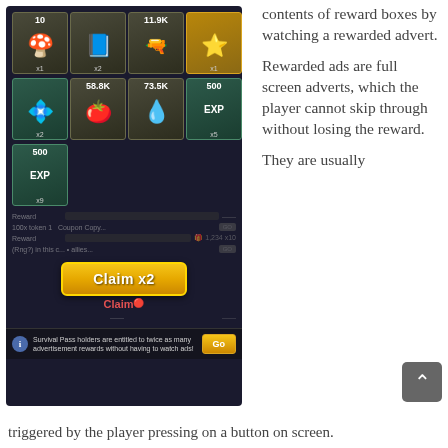[Figure (screenshot): Mobile game screenshot showing reward boxes with items: mushrooms (x1, 10), book (x2), ammo (11.9K), star medal (x1), purple star (x2), tomato (58.8K), water drop (73.5K), EXP book (500, x5), EXP book (500, x9). A 'Claim x2' button is shown in gold, a red 'Claim' text below it, and an info bar at the bottom saying 'Survival Pass holders are entitled to twice as many advertisement rewards without having to watch ads!' with a 'Go' button.]
contents of reward boxes by watching a rewarded advert.
Rewarded ads are full screen adverts, which the player cannot skip through without losing the reward.
They are usually triggered by the player pressing on a button on screen.